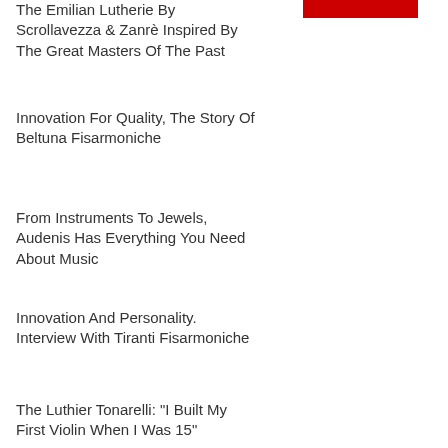[Figure (other): Red rectangle/bar in upper right area]
The Emilian Lutherie By Scrollavezza & Zanrè Inspired By The Great Masters Of The Past
Innovation For Quality, The Story Of Beltuna Fisarmoniche
From Instruments To Jewels, Audenis Has Everything You Need About Music
Innovation And Personality. Interview With Tiranti Fisarmoniche
The Luthier Tonarelli: "I Built My First Violin When I Was 15"